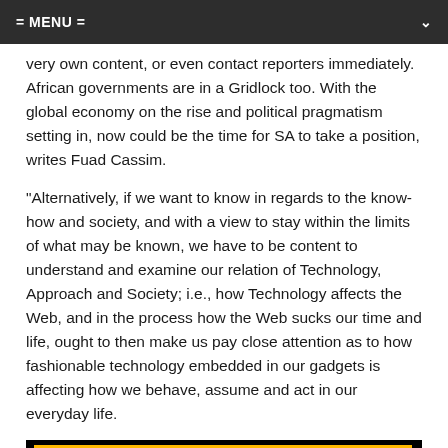= MENU =
very own content, or even contact reporters immediately. African governments are in a Gridlock too. With the global economy on the rise and political pragmatism setting in, now could be the time for SA to take a position, writes Fuad Cassim.
“Alternatively, if we want to know in regards to the know-how and society, and with a view to stay within the limits of what may be known, we have to be content to understand and examine our relation of Technology, Approach and Society; i.e., how Technology affects the Web, and in the process how the Web sucks our time and life, ought to then make us pay close attention as to how fashionable technology embedded in our gadgets is affecting how we behave, assume and act in our everyday life.
[Figure (photo): A sign reading ECONOMISTS in large bold white letters on a blue background with a gold/yellow border and black outer frame.]